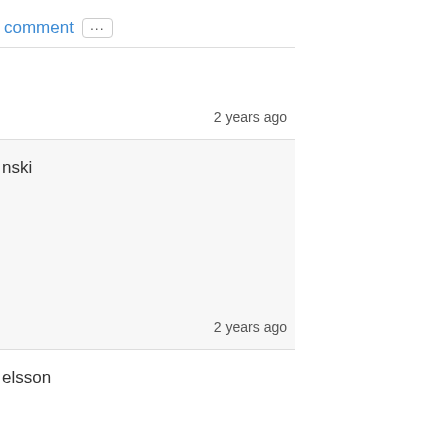comment ...
2 years ago
nski
2 years ago
elsson
2 years ago
elsson